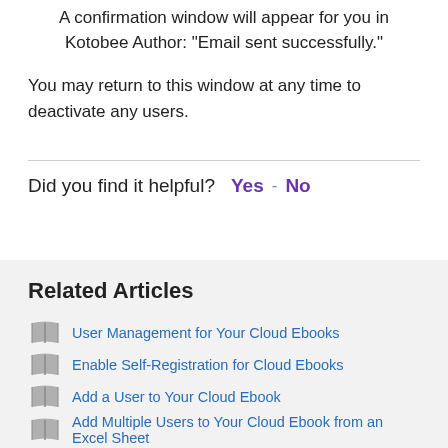A confirmation window will appear for you in Kotobee Author: "Email sent successfully."
You may return to this window at any time to deactivate any users.
Did you find it helpful?  Yes  -  No
Related Articles
User Management for Your Cloud Ebooks
Enable Self-Registration for Cloud Ebooks
Add a User to Your Cloud Ebook
Add Multiple Users to Your Cloud Ebook from an Excel Sheet
Approve a Single User for a Cloud Ebook
Add Multiple Users to Your Library from an Excel Sheet
User Management for Your Library
Remove Multiple Users from a Cloud Ebook